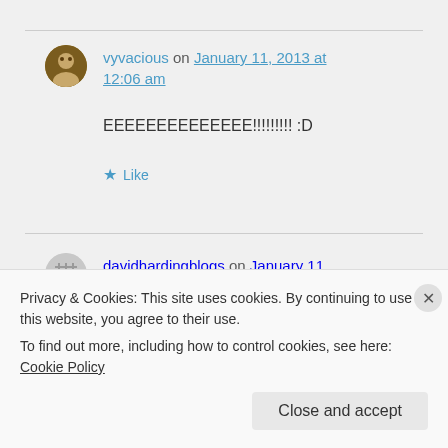vyvacious on January 11, 2013 at 12:06 am
EEEEEEEEEEEEEE!!!!!!!!! :D
Like
davidhardingblogs on January 11, 2013 at 12:10 am
Privacy & Cookies: This site uses cookies. By continuing to use this website, you agree to their use.
To find out more, including how to control cookies, see here: Cookie Policy